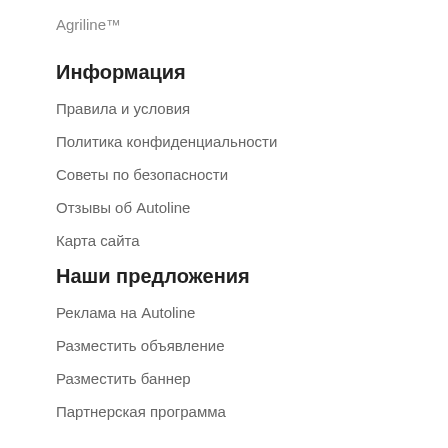Agriline™
Информация
Правила и условия
Политика конфиденциальности
Советы по безопасности
Отзывы об Autoline
Карта сайта
Наши предложения
Реклама на Autoline
Разместить объявление
Разместить баннер
Партнерская программа